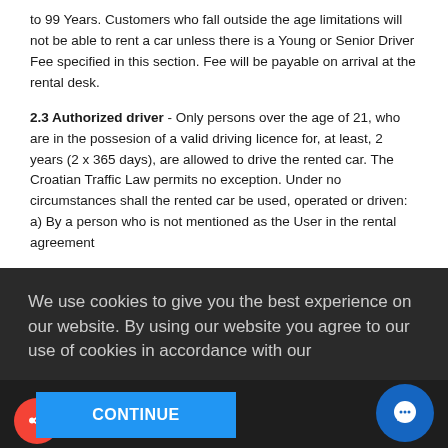to 99 Years. Customers who fall outside the age limitations will not be able to rent a car unless there is a Young or Senior Driver Fee specified in this section. Fee will be payable on arrival at the rental desk.
2.3 Authorized driver - Only persons over the age of 21, who are in the possesion of a valid driving licence for, at least, 2 years (2 x 365 days), are allowed to drive the rented car. The Croatian Traffic Law permits no exception. Under no circumstances shall the rented car be used, operated or driven:
a) By a person who is not mentioned as the User in the rental agreement
We use cookies to give you the best experience on our website. By using our website you agree to our use of cookies in accordance with our
cookie policy